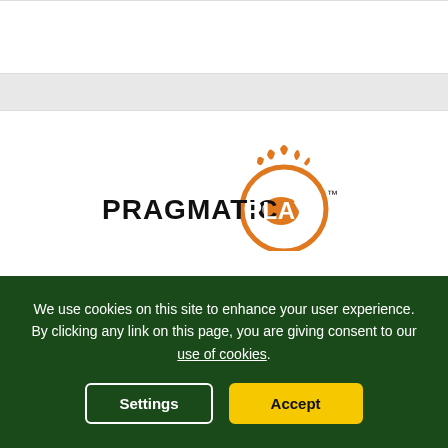[Figure (logo): Pragmatic Play logo — bold sans-serif text 'PRAGMATIC PLAY' with an orange circular badge containing the word PLAY and a crown/pineapple top motif, trademark symbol]
Pragmatic Play Slots
Try our free Pragmatic Play games and read our full review. Discover the best Pragmatic
We use cookies on this site to enhance your user experience. By clicking any link on this page, you are giving consent to our use of cookies.
Settings
Accept